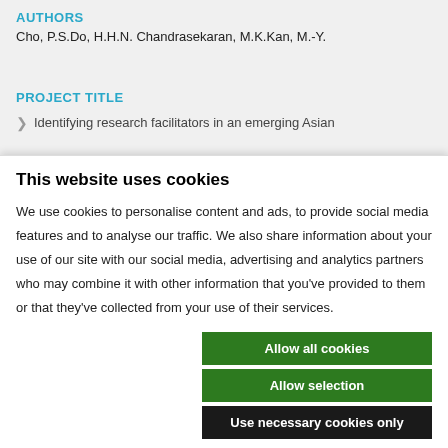AUTHORS
Cho, P.S.Do, H.H.N. Chandrasekaran, M.K.Kan, M.-Y.
PROJECT TITLE
Identifying research facilitators in an emerging Asian
This website uses cookies
We use cookies to personalise content and ads, to provide social media features and to analyse our traffic. We also share information about your use of our site with our social media, advertising and analytics partners who may combine it with other information that you've provided to them or that they've collected from your use of their services.
Allow all cookies
Allow selection
Use necessary cookies only
Necessary  Preferences  Statistics  Marketing  Show details